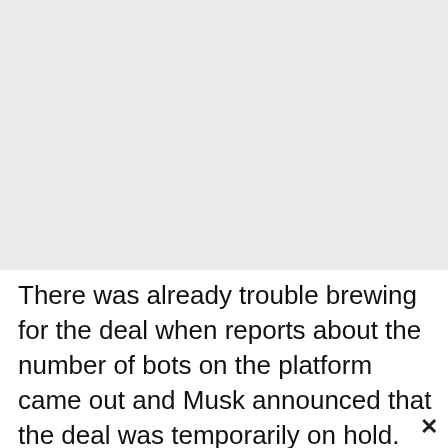Advertisement - story continues below
[Figure (other): Grey advertisement placeholder box]
There was already trouble brewing for the deal when reports about the number of bots on the platform came out and Musk announced that the deal was temporarily on hold.